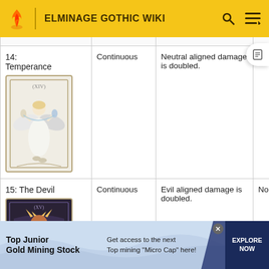ELMINAGE GOTHIC WIKI
| Card | Type | Effect | Notes |
| --- | --- | --- | --- |
| 14: Temperance | Continuous | Neutral aligned damage is doubled. | No effect |
| 15: The Devil | Continuous | Evil aligned damage is doubled. | No effect. |
Top Junior Gold Mining Stock — Get access to the next Top mining "Micro Cap" here! EXPLORE NOW